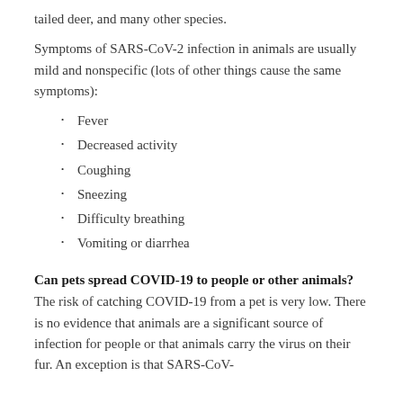tailed deer, and many other species.
Symptoms of SARS-CoV-2 infection in animals are usually mild and nonspecific (lots of other things cause the same symptoms):
Fever
Decreased activity
Coughing
Sneezing
Difficulty breathing
Vomiting or diarrhea
Can pets spread COVID-19 to people or other animals?
The risk of catching COVID-19 from a pet is very low. There is no evidence that animals are a significant source of infection for people or that animals carry the virus on their fur. An exception is that SARS-CoV-